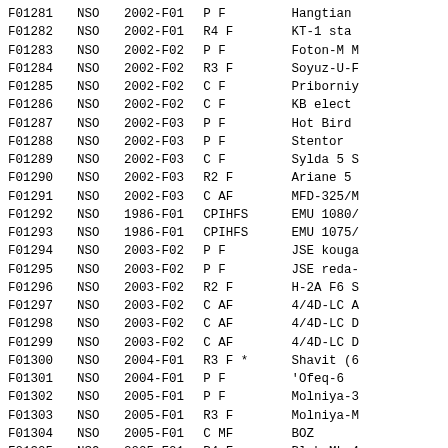| ID | ORG | LAUNCH | TYPE | NAME |
| --- | --- | --- | --- | --- |
| F01281 | NSO | 2002-F01 | P    F | Hangtian |
| F01282 | NSO | 2002-F01 | R4   F | KT-1 sta |
| F01283 | NSO | 2002-F02 | P    F | Foton-M M |
| F01284 | NSO | 2002-F02 | R3   F | Soyuz-U-F |
| F01285 | NSO | 2002-F02 | C    F | Priborniy |
| F01286 | NSO | 2002-F02 | C    F | KB elect |
| F01287 | NSO | 2002-F03 | P    F | Hot Bird |
| F01288 | NSO | 2002-F03 | P    F | Stentor |
| F01289 | NSO | 2002-F03 | C    F | Sylda 5 S |
| F01290 | NSO | 2002-F03 | R2   F | Ariane 5 |
| F01291 | NSO | 2002-F03 | C    AF | MFD-325/M |
| F01292 | NSO | 1986-F01 | CPIHFS | EMU 1080/ |
| F01293 | NSO | 1986-F01 | CPIHFS | EMU 1075/ |
| F01294 | NSO | 2003-F02 | P    F | JSE kouga |
| F01295 | NSO | 2003-F02 | P    F | JSE reda- |
| F01296 | NSO | 2003-F02 | R2   F | H-2A F6 S |
| F01297 | NSO | 2003-F02 | C    AF | 4/4D-LC A |
| F01298 | NSO | 2003-F02 | C    AF | 4/4D-LC D |
| F01299 | NSO | 2003-F02 | C    AF | 4/4D-LC D |
| F01300 | NSO | 2004-F01 | R3   F  * | Shavit (6 |
| F01301 | NSO | 2004-F01 | P    F | 'Ofeq-6 |
| F01302 | NSO | 2005-F01 | P    F | Molniya-3 |
| F01303 | NSO | 2005-F01 | R3   F | Molniya-M |
| F01304 | NSO | 2005-F01 | C    MF | BOZ |
| F01305 | NSO | 2005-F01 | R4   F | Blok-ML 4 |
| F01306 | NSO | 2005-F02 | P    F | Cosmos-1 |
| F01307 | NSO | 2005-F02 | C    MF  * | Cosmos-1 |
| F01308 | NSO | 2005-F02 | C    FF | Cosmos-1 |
| F01309 | NSO | 2005-F03 | P    F | CRYOSAT |
| F01310 | NSO | 2005-F03 | R3   F | Briz-KM |